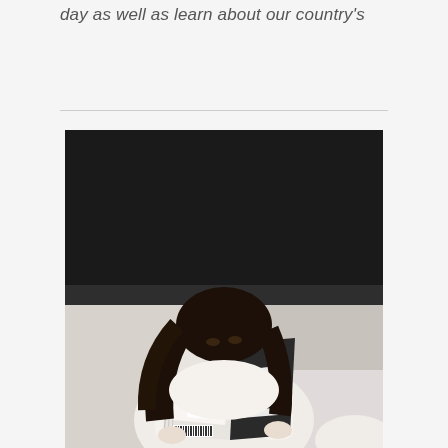day as well as learn about our country's
[Figure (photo): A young girl with long dark hair holding up a black and white book, reading it so that her face is partially hidden behind the open book. The background is dark/black at the top and lighter gray-white at the bottom, suggesting a room with a blackboard or dark wall.]